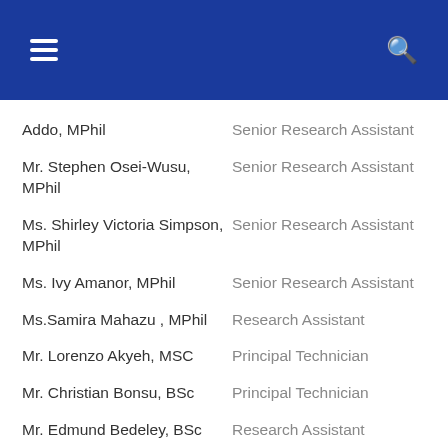Addo, MPhil — Senior Research Assistant
Mr. Stephen Osei-Wusu, MPhil — Senior Research Assistant
Ms. Shirley Victoria Simpson, MPhil — Senior Research Assistant
Ms. Ivy Amanor, MPhil — Senior Research Assistant
Ms.Samira Mahazu , MPhil — Research Assistant
Mr. Lorenzo Akyeh, MSC — Principal Technician
Mr. Christian Bonsu, BSc — Principal Technician
Mr. Edmund Bedeley, BSc — Research Assistant
Ms. Portia Morgan , — Research Assistant